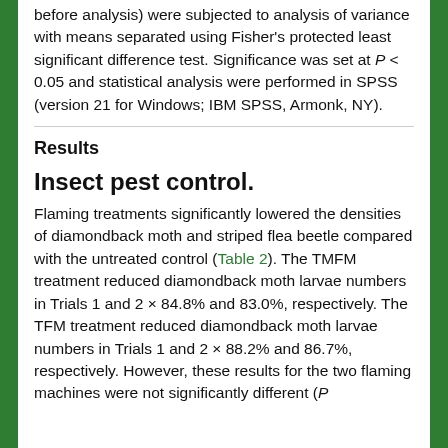before analysis) were subjected to analysis of variance with means separated using Fisher's protected least significant difference test. Significance was set at P < 0.05 and statistical analysis were performed in SPSS (version 21 for Windows; IBM SPSS, Armonk, NY).
Results
Insect pest control.
Flaming treatments significantly lowered the densities of diamondback moth and striped flea beetle compared with the untreated control (Table 2). The TMFM treatment reduced diamondback moth larvae numbers in Trials 1 and 2 × 84.8% and 83.0%, respectively. The TFM treatment reduced diamondback moth larvae numbers in Trials 1 and 2 × 88.2% and 86.7%, respectively. However, these results for the two flaming machines were not significantly different (P